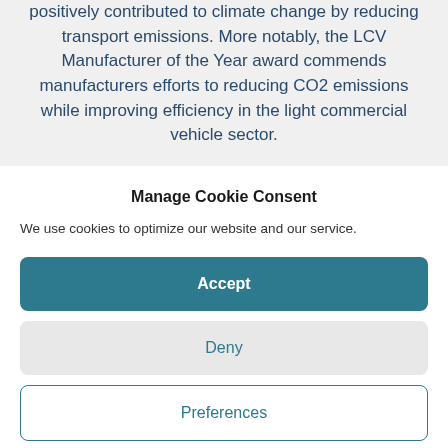positively contributed to climate change by reducing transport emissions. More notably, the LCV Manufacturer of the Year award commends manufacturers efforts to reducing CO2 emissions while improving efficiency in the light commercial vehicle sector.
Manage Cookie Consent
We use cookies to optimize our website and our service.
Accept
Deny
Preferences